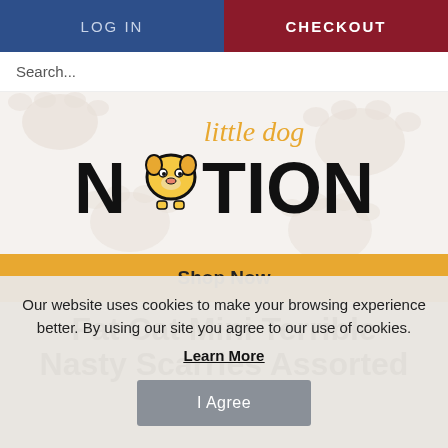LOG IN  |  CHECKOUT
Search...
[Figure (logo): Little Dog Nation logo with cartoon dog face replacing the 'O' in NATION, script text 'little dog' above, paw print background]
Shop Now
Fat Cat Mini Terrible Nasty Scarries  Assorted
Our website uses cookies to make your browsing experience better. By using our site you agree to our use of cookies. Learn More  I Agree